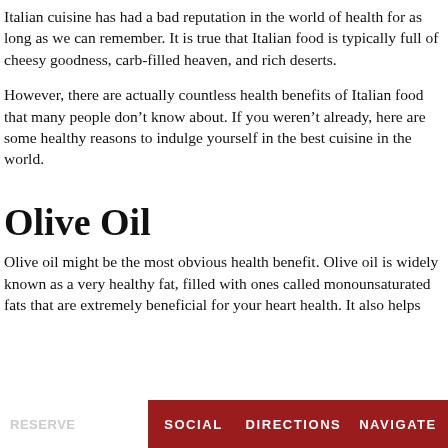Italian cuisine has had a bad reputation in the world of health for as long as we can remember. It is true that Italian food is typically full of cheesy goodness, carb-filled heaven, and rich deserts.
However, there are actually countless health benefits of Italian food that many people don’t know about. If you weren’t already, here are some healthy reasons to indulge yourself in the best cuisine in the world.
Olive Oil
Olive oil might be the most obvious health benefit. Olive oil is widely known as a very healthy fat, filled with ones called monounsaturated fats that are extremely beneficial for your heart health. It also helps
RESERVE   SOCIAL   DIRECTIONS   NAVIGATE